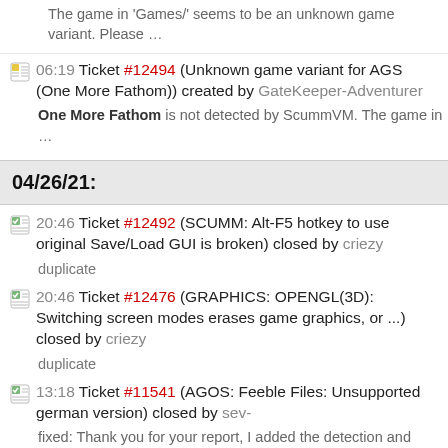The game in 'Games/' seems to be an unknown game variant. Please …
06:19 Ticket #12494 (Unknown game variant for AGS (One More Fathom)) created by GateKeeper-Adventurer
One More Fathom is not detected by ScummVM. The game in …
04/26/21:
20:46 Ticket #12492 (SCUMM: Alt-F5 hotkey to use original Save/Load GUI is broken) closed by criezy
duplicate
20:46 Ticket #12476 (GRAPHICS: OPENGL(3D): Switching screen modes erases game graphics, or ...) closed by criezy
duplicate
13:18 Ticket #11541 (AGOS: Feeble Files: Unsupported german version) closed by sev-
fixed: Thank you for your report, I added the detection and support…